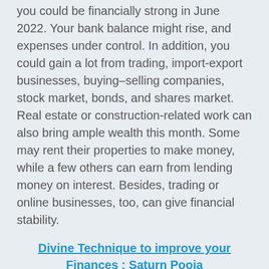you could be financially strong in June 2022. Your bank balance might rise, and expenses under control. In addition, you could gain a lot from trading, import-export businesses, buying–selling companies, stock market, bonds, and shares market. Real estate or construction-related work can also bring ample wealth this month. Some may rent their properties to make money, while a few others can earn from lending money on interest. Besides, trading or online businesses, too, can give financial stability.
Divine Technique to improve your Finances : Saturn Pooja
Career: Self-employment can bring success and growth for many Sagittarius natives in June 2022. There could be progress in the